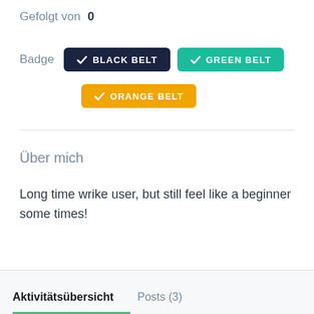Gefolgt von  0
Badge  ✔ BLACK BELT  ✔ GREEN BELT  ✔ ORANGE BELT
Über mich
Long time wrike user, but still feel like a beginner some times!
Aktivitätsübersicht   Posts (3)